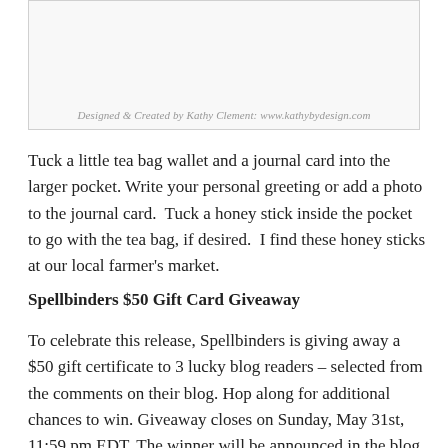[Figure (photo): Decorative craft items photo with credit text: Designed & Created by Kathy Clement: www.kathybydesign.com]
Designed & Created by Kathy Clement: www.kathybydesign.com
Tuck a little tea bag wallet and a journal card into the larger pocket. Write your personal greeting or add a photo to the journal card.  Tuck a honey stick inside the pocket to go with the tea bag, if desired.  I find these honey sticks at our local farmer's market.
Spellbinders $50 Gift Card Giveaway
To celebrate this release, Spellbinders is giving away a $50 gift certificate to 3 lucky blog readers – selected from the comments on their blog. Hop along for additional chances to win. Giveaway closes on Sunday, May 31st, 11:59 pm EDT. The winner will be announced in the blog hop post the following Tuesday. The winner is responsible for shipping cost, duties and taxes.